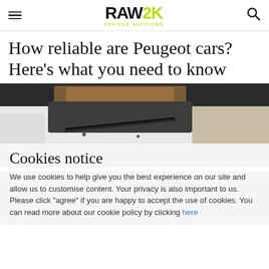RAW2K VEHICLE AUCTIONS
How reliable are Peugeot cars? Here's what you need to know
[Figure (photo): Close-up photo of a white Peugeot car showing the windshield, wiper, and door area with a dark background]
Cookies notice
We use cookies to help give you the best experience on our site and allow us to customise content. Your privacy is also important to us. Please click "agree" if you are happy to accept the use of cookies. You can read more about our cookie policy by clicking here